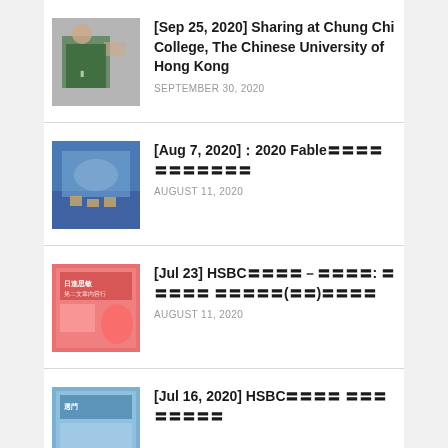[Sep 25, 2020] Sharing at Chung Chi College, The Chinese University of Hong Kong
[Aug 7, 2020]：2020 Fable〓〓〓〓〓〓〓〓〓〓〓
[Jul 23] HSBC〓〓〓〓－〓〓〓〓: 〓〓〓〓〓 〓〓〓〓〓(〓〓)〓〓〓〓
[Jul 16, 2020] HSBC〓〓〓〓 〓〓〓〓〓〓〓〓